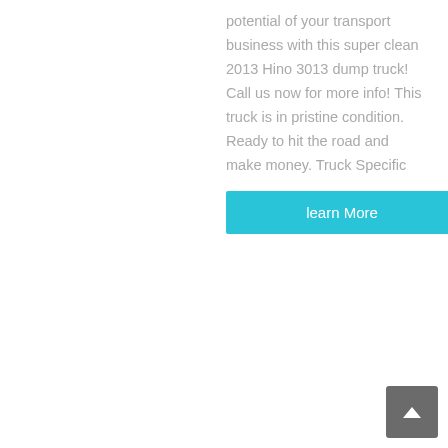potential of your transport business with this super clean 2013 Hino 3013 dump truck! Call us now for more info! This truck is in pristine condition. Ready to hit the road and make money. Truck Specific
learn More
[Figure (photo): Photo of green dump trucks parked in a lot, front view, with a red truck visible on the left side]
Used 268 For Sale - Used Rogers,hino 268 Dump Trucks
Used Rogers,hino 268 Dump Trucks For Sale: 5 Dump Trucks - Find Used Rogers,hino 268 Dump Trucks on